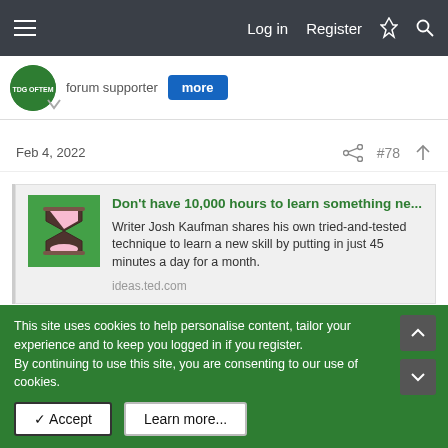Log in  Register
[Figure (screenshot): Partial user avatar and forum supporter badge row]
Feb 4, 2022   #78
[Figure (other): Link card preview: Don't have 10,000 hours to learn something ne... Writer Josh Kaufman shares his own tried-and-tested technique to learn a new skill by putting in just 45 minutes a day for a month. ideas.ted.com]
To overcome what Kaufman calls the “frustration barrier” — that period in the beginning when you’re painfully incompetent and
This site uses cookies to help personalise content, tailor your experience and to keep you logged in if you register.
By continuing to use this site, you are consenting to our use of cookies.